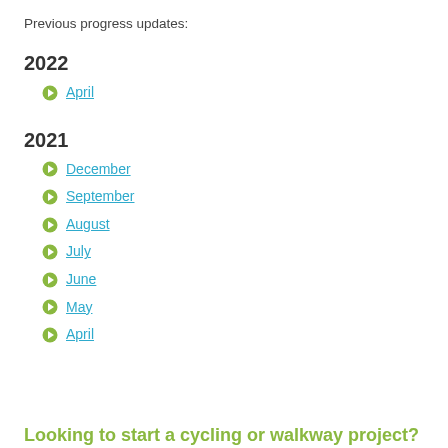Previous progress updates:
2022
April
2021
December
September
August
July
June
May
April
Looking to start a cycling or walkway project?